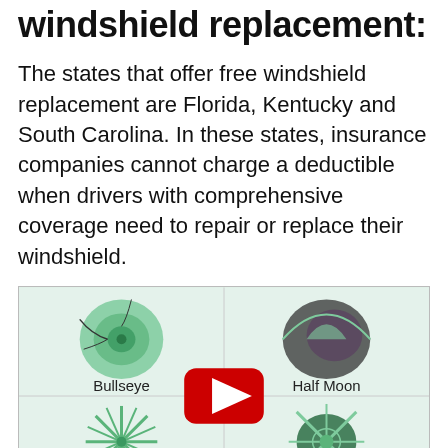windshield replacement:
The states that offer free windshield replacement are Florida, Kentucky and South Carolina. In these states, insurance companies cannot charge a deductible when drivers with comprehensive coverage need to repair or replace their windshield.
[Figure (illustration): A video thumbnail showing four types of windshield damage: Bullseye (top left), Half Moon (top right), Star (bottom left), and Combination (bottom right), with a YouTube play button in the center.]
Will Geico replace my